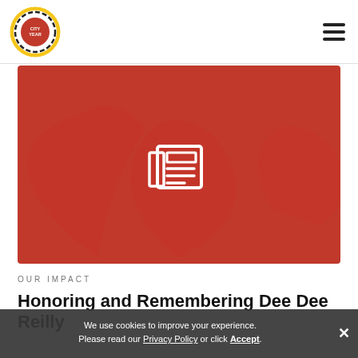City Year — navigation header with logo and hamburger menu
[Figure (screenshot): City Year website screenshot showing a red hero banner with a white newspaper/news icon in the center, decorative heart shapes in the background]
OUR IMPACT
Honoring and Remembering Dee Dee Reilly
We use cookies to improve your experience. Please read our Privacy Policy or click Accept.